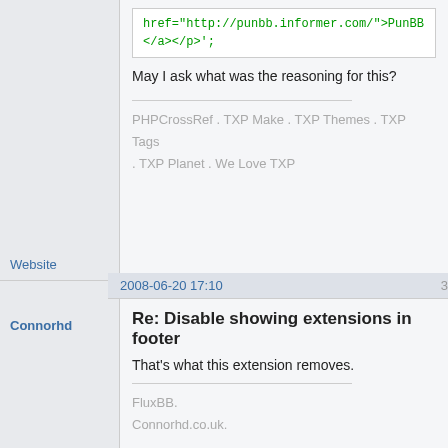[Figure (screenshot): Forum post snippet showing code block with href to punbb.informer.com and </a></p>'; followed by post text 'May I ask what was the reasoning for this?' and signature links PHPCrossRef, TXP Make, TXP Themes, TXP Tags, TXP Planet, We Love TXP, and Website link]
Connorhd
2008-06-20 17:10
3
Re: Disable showing extensions in footer
That's what this extension removes.
FluxBB.
Connorhd.co.uk.